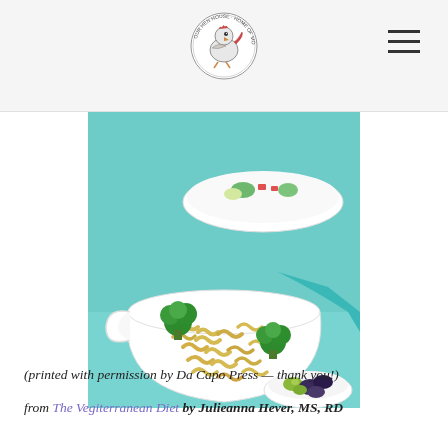Our Hen House logo and navigation
[Figure (photo): A white ceramic bowl filled with rotini pasta and broccoli florets, with a second white bowl of mixed salad in the background and a small dish of olives in the foreground, set on a teal/turquoise surface with a teal cloth.]
(printed with permission by Da Capo Press — thank you!) from The Vegiterranean Diet by Julieanna Hever, MS, RD